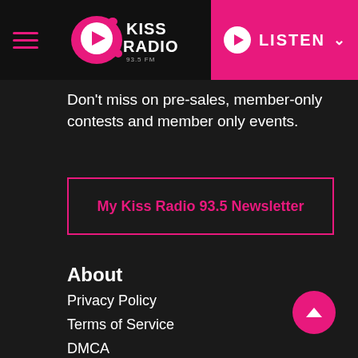Kiss Radio 93.5 FM – LISTEN
Don't miss on pre-sales, member-only contests and member only events.
My Kiss Radio 93.5 Newsletter
About
Privacy Policy
Terms of Service
DMCA
EEO
General Contest Rules